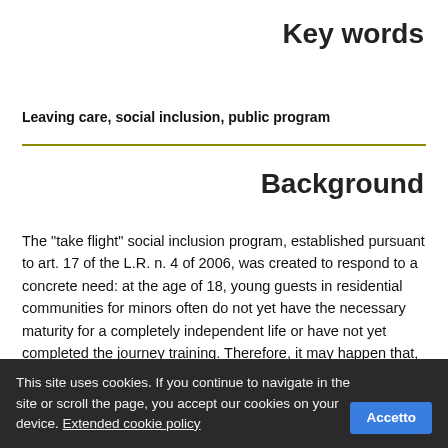Key words
Leaving care, social inclusion, public program
Background
The "take flight" social inclusion program, established pursuant to art. 17 of the L.R. n. 4 of 2006, was created to respond to a concrete need: at the age of 18, young guests in residential communities for minors often do not yet have the necessary maturity for a completely independent life or have not yet completed the journey training. Therefore, it may happen that, if discharged from the residential community without adequate support, they are unable to
This site uses cookies. If you continue to navigate in the site or scroll the page, you accept our cookies on your device. Extended cookie policy